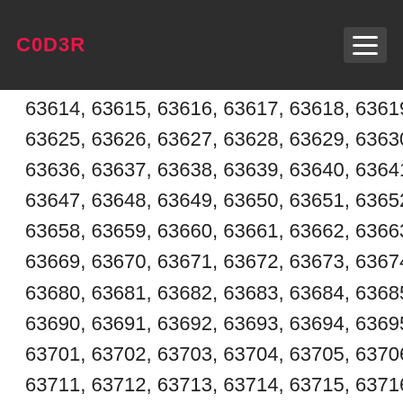C0D3R
63614, 63615, 63616, 63617, 63618, 63619, 63620, 63625, 63626, 63627, 63628, 63629, 63630, 63633, 63636, 63637, 63638, 63639, 63640, 63641, 63644, 63647, 63648, 63649, 63650, 63651, 63652, 63655, 63658, 63659, 63660, 63661, 63662, 63663, 63666, 63669, 63670, 63671, 63672, 63673, 63674, 63677, 63680, 63681, 63682, 63683, 63684, 63685, 63688, 63690, 63691, 63692, 63693, 63694, 63695, 63699, 63701, 63702, 63703, 63704, 63705, 63706, 63709, 63711, 63712, 63713, 63714, 63715, 63716, 63717, 63722, 63723, 63724, 63725, 63726, 63727, 63728, 63733, 63734, 63735, 63736, 63737, 63738, 63739, 63744, 63745, 63746, 63747, 63748, 63749, 63750, 63755, 63756, 63757, 63758, 63759, 63760, 63761, 63766, 63767, 63768, 63769, 63770, 63771, 63772, 63777, 63778, 63779, 63780, 63781, 63782, 63783